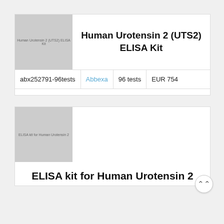[Figure (photo): Product image placeholder for Human Urotensin 2 (UTS2) ELISA Kit, grey rectangle with text label]
Human Urotensin 2 (UTS2) ELISA Kit
| SKU | Supplier | Quantity | Price |
| --- | --- | --- | --- |
| abx252791-96tests | Abbexa | 96 tests | EUR 754 |
[Figure (photo): Product image placeholder for ELISA kit for Human Urotensin 2, grey rectangle with text label]
ELISA kit for Human Urotensin 2